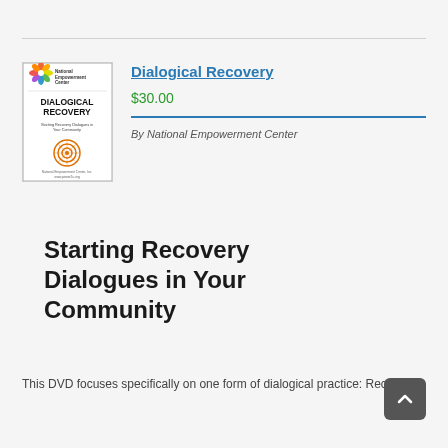[Figure (illustration): Book/DVD cover for 'Dialogical Recovery' by National Empowerment Center, featuring colorful logo at top, bold title text, subtitle 'Starting Recovery Dialogues in Your Community', and an orange spiral decorative element]
Dialogical Recovery
$30.00
By National Empowerment Center
Starting Recovery Dialogues in Your Community
This DVD focuses specifically on one form of dialogical practice: Recovery